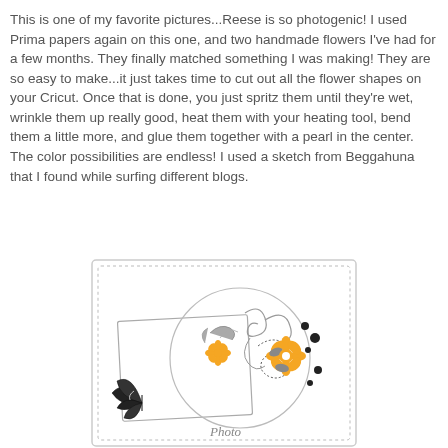This is one of my favorite pictures...Reese is so photogenic! I used Prima papers again on this one, and two handmade flowers I've had for a few months. They finally matched something I was making! They are so easy to make...it just takes time to cut out all the flower shapes on your Cricut. Once that is done, you just spritz them until they're wet, wrinkle them up really good, heat them with your heating tool, bend them a little more, and glue them together with a pearl in the center. The color possibilities are endless! I used a sketch from Beggahuna that I found while surfing different blogs.
[Figure (illustration): A scrapbooking sketch layout showing a decorative frame with dotted border, circular photo placeholder, floral embellishments with orange and gray flowers, black butterfly in lower left, swirling vines, and the word 'Photo' written in script at the bottom center.]